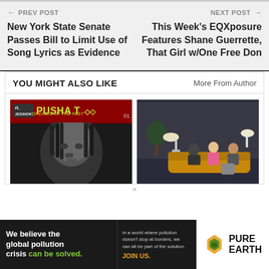← PREV POST
New York State Senate Passes Bill to Limit Use of Song Lyrics as Evidence
NEXT POST →
This Week's EQXposure Features Shane Guerrette, That Girl w/One Free Don
YOU MIGHT ALSO LIKE
More From Author
[Figure (photo): Pusha T - Dreamin of the Past album art with artist face]
[Figure (photo): Band or group of people on a couch in a dark room]
[Figure (other): Pure Earth advertisement banner - We believe the global pollution crisis can be solved. JOIN US.]